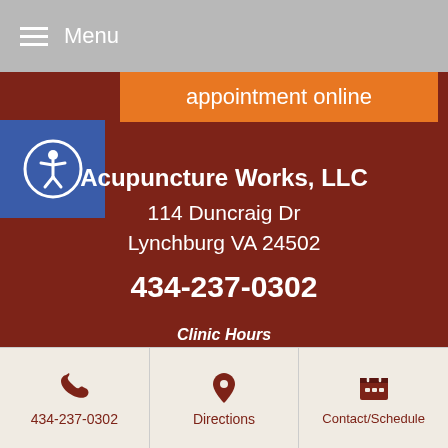Menu
appointment online
[Figure (other): Accessibility icon - circular person symbol on blue background]
Acupuncture Works, LLC
114 Duncraig Dr
Lynchburg VA 24502
434-237-0302
Clinic Hours
By appointment only
Monday through Friday
434-237-0302 | Directions | Contact/Schedule